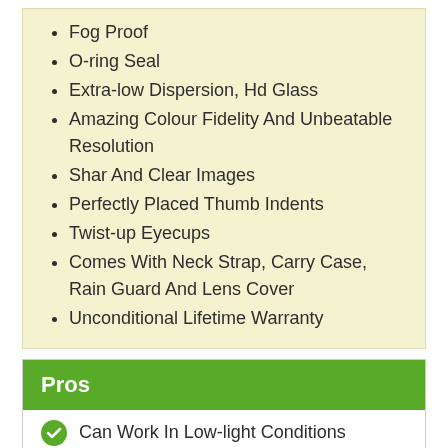Fog Proof
O-ring Seal
Extra-low Dispersion, Hd Glass
Amazing Colour Fidelity And Unbeatable Resolution
Shar And Clear Images
Perfectly Placed Thumb Indents
Twist-up Eyecups
Comes With Neck Strap, Carry Case, Rain Guard And Lens Cover
Unconditional Lifetime Warranty
Pros
Can Work In Low-light Conditions
Comes With Accessories